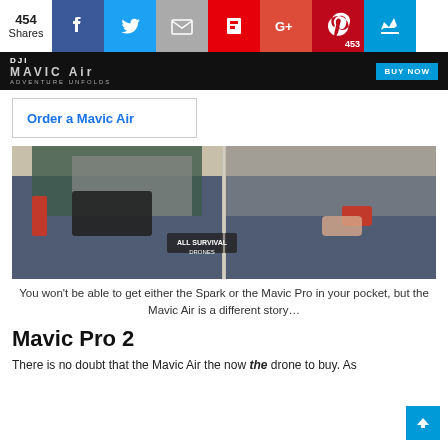454 Shares | Facebook | Twitter | Email | Flipboard | Google+ | Pinterest 453 | Crown
[Figure (screenshot): DJI Mavic Air advertisement banner with BUY NOW button]
Order a Mavic Air
[Figure (photo): Two side-by-side photos showing people putting a drone into their pocket. Left shows a larger drone that doesn't fit, right shows Mavic Air fitting into a pocket. All Survival Drones watermark visible.]
You won't be able to get either the Spark or the Mavic Pro in your pocket, but the Mavic Air is a different story…
Mavic Pro 2
There is no doubt that the Mavic Air the now the drone to buy. As